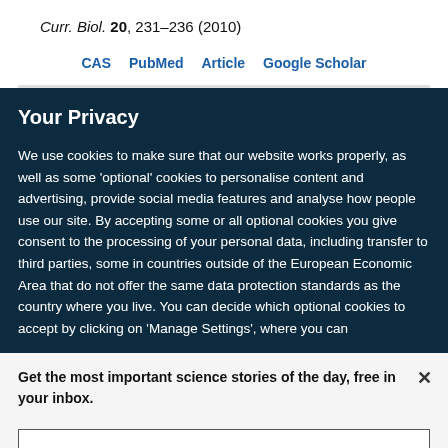Curr. Biol. 20, 231–236 (2010)
CAS   PubMed   Article   Google Scholar
Your Privacy
We use cookies to make sure that our website works properly, as well as some 'optional' cookies to personalise content and advertising, provide social media features and analyse how people use our site. By accepting some or all optional cookies you give consent to the processing of your personal data, including transfer to third parties, some in countries outside of the European Economic Area that do not offer the same data protection standards as the country where you live. You can decide which optional cookies to accept by clicking on 'Manage Settings', where you can
Get the most important science stories of the day, free in your inbox.
Sign up for Nature Briefing